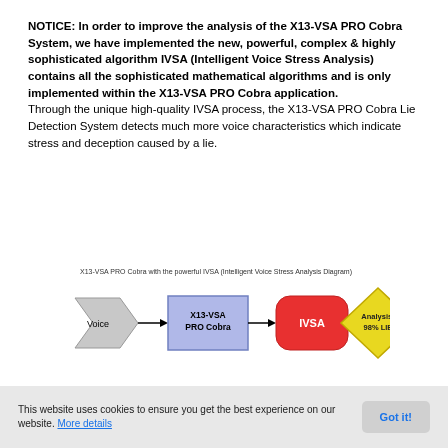NOTICE: In order to improve the analysis of the X13-VSA PRO Cobra System, we have implemented the new, powerful, complex & highly sophisticated algorithm IVSA (Intelligent Voice Stress Analysis) contains all the sophisticated mathematical algorithms and is only implemented within the X13-VSA PRO Cobra application. Through the unique high-quality IVSA process, the X13-VSA PRO Cobra Lie Detection System detects much more voice characteristics which indicate stress and deception caused by a lie.
X13-VSA PRO Cobra with the powerful IVSA (Intelligent Voice Stress Analysis Diagram)
[Figure (flowchart): Flowchart showing: Voice (grey arrow/chevron) → X13-VSA PRO Cobra (blue rectangle) → IVSA (red rounded rectangle) → Analysis: 98% LIE (yellow diamond)]
This website uses cookies to ensure you get the best experience on our website. More details